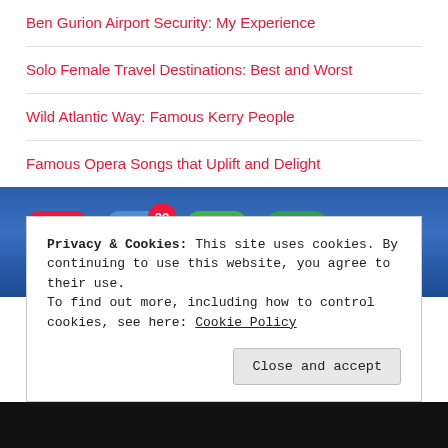Ben Gurion Airport Security: My Experience
Solo Female Travel Destinations: Best and Worst
Wild Atlantic Way: Famous Kerry People
Famous Opera Songs that Uplift and Delight
[Figure (photo): Smartphone screen showing app icons including a red icon, a blue mail icon with a red badge showing '20', and a green phone icon]
Privacy & Cookies: This site uses cookies. By continuing to use this website, you agree to their use.
To find out more, including how to control cookies, see here: Cookie Policy
Close and accept